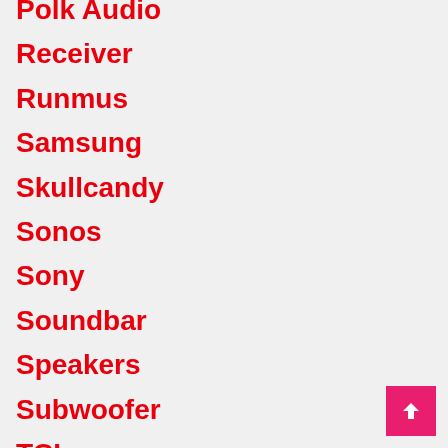Polk Audio
Receiver
Runmus
Samsung
Skullcandy
Sonos
Sony
Soundbar
Speakers
Subwoofer
TCL
TV Reviews
Vizio